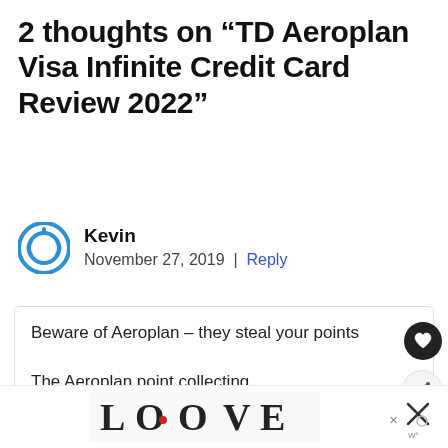2 thoughts on “TD Aeroplan Visa Infinite Credit Card Review 2022”
Kevin
November 27, 2019 | Reply
Beware of Aeroplan – they steal your points

The Aeroplan point collecting